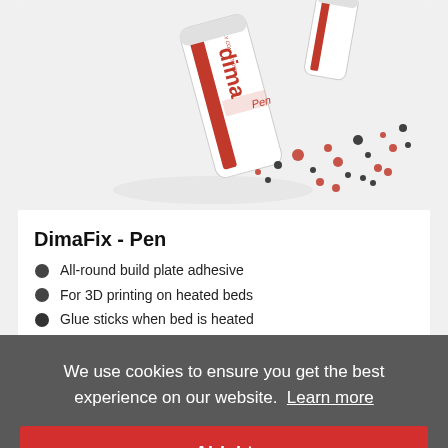[Figure (photo): DimaFix Pen product image showing a white cylindrical pen with red DimaFix branding and 'HIGHLY COMMENDED' text, with dots and particles scattered around it on a light gray background]
DimaFix - Pen
All-round build plate adhesive
For 3D printing on heated beds
Glue sticks when bed is heated
€ 14.46
We use cookies to ensure you get the best experience on our website.  Learn more
Alright